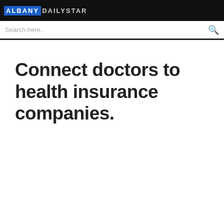ALBANY DAILY STAR
Search here..
Connect doctors to health insurance companies.